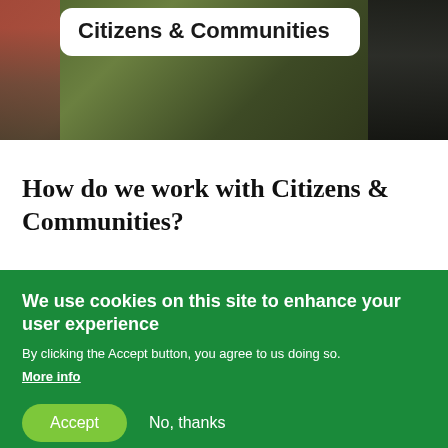[Figure (photo): Photo of people outdoors with a white rounded card overlay showing 'Citizens & Communities' title]
Citizens & Communities
How do we work with Citizens & Communities?
We use cookies on this site to enhance your user experience
By clicking the Accept button, you agree to us doing so. More info
Accept   No, thanks